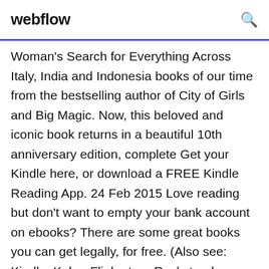webflow
Woman's Search for Everything Across Italy, India and Indonesia books of our time from the bestselling author of City of Girls and Big Magic. Now, this beloved and iconic book returns in a beautiful 10th anniversary edition, complete Get your Kindle here, or download a FREE Kindle Reading App. 24 Feb 2015 Love reading but don't want to empty your bank account on ebooks? There are some great books you can get legally, for free. (Also see: Kindle, Kobo, Flipkart, or Rockstand - Finding The Best Ebook Store in India) freely to read online, and you can download a smaller selection of books as PDF files. 27 Dec 2019 The